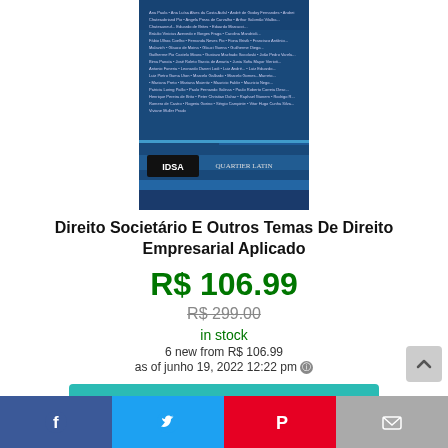[Figure (photo): Book cover: Direito Societário E Outros Temas De Direito Empresarial Aplicado, blue cover with author names and IDSA / Quartier Latin logos]
Direito Societário E Outros Temas De Direito Empresarial Aplicado
R$ 106.99
R$ 299.00
in stock
6 new from R$ 106.99
as of junho 19, 2022 12:22 pm ℹ
Verifique o preço na Amazon
Amazon.com.br
Facebook | Twitter | Pinterest | Email